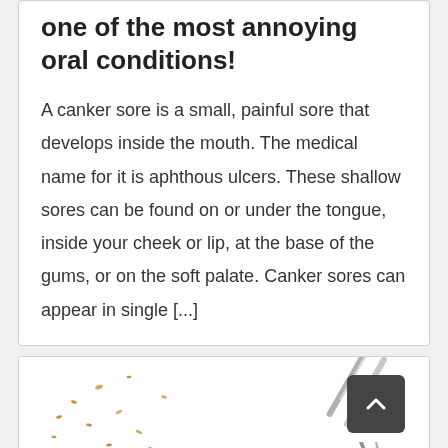one of the most annoying oral conditions!
A canker sore is a small, painful sore that develops inside the mouth. The medical name for it is aphthous ulcers. These shallow sores can be found on or under the tongue, inside your cheek or lip, at the base of the gums, or on the soft palate. Canker sores can appear in single [...]
[Figure (photo): Partial image of dental tools and scattered small objects on a white background, visible at bottom of page]